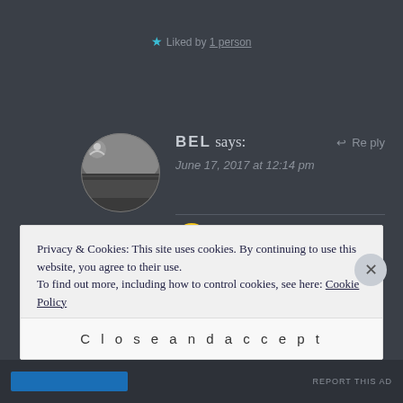★ Liked by 1 person
BEL says:
Reply
June 17, 2017 at 12:14 pm
[Figure (illustration): Two emoji: smiling face with sunglasses and a red heart]
★ Liked by 1 person
Privacy & Cookies: This site uses cookies. By continuing to use this website, you agree to their use. To find out more, including how to control cookies, see here: Cookie Policy
Close and accept